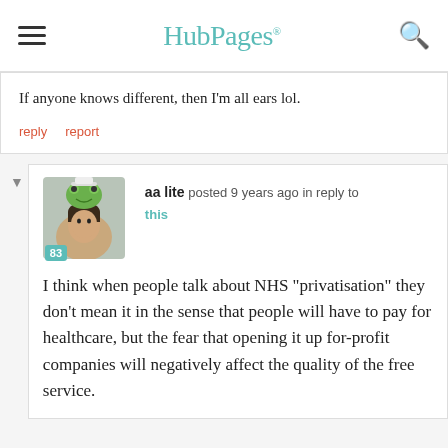HubPages
If anyone knows different, then I'm all ears lol.
reply   report
aa lite posted 9 years ago in reply to this
I think when people talk about NHS "privatisation" they don't mean it in the sense that people will have to pay for healthcare, but the fear that opening it up for-profit companies will negatively affect the quality of the free service.